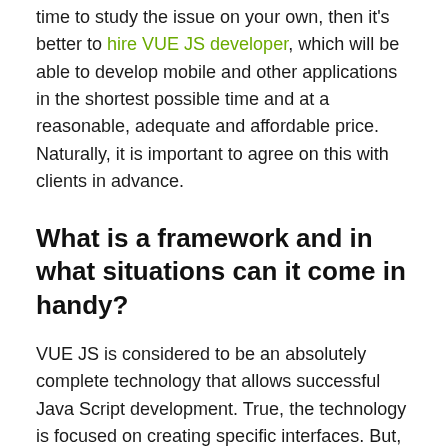time to study the issue on your own, then it's better to hire VUE JS developer, which will be able to develop mobile and other applications in the shortest possible time and at a reasonable, adequate and affordable price. Naturally, it is important to agree on this with clients in advance.
What is a framework and in what situations can it come in handy?
VUE JS is considered to be an absolutely complete technology that allows successful Java Script development. True, the technology is focused on creating specific interfaces. But, as people say, one does not interfere with the other, and on the contrary, they complement. If a specialist needs to write an application from scratch for a specific project, while there is a need to use the tools of this Java Script library, then it is quite possible to bring it to life, after which you can also scale it.
A framework is a working environment designed to carry